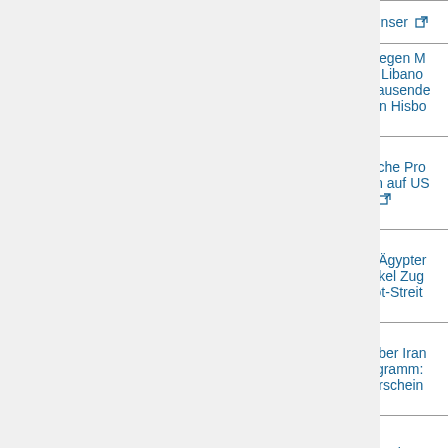| Date | Source | Title |
| --- | --- | --- |
|  |  | Palästinenser [ext] |
| 17.09.2012 | spiegel.de | Protest gegen M... Video im Libano... Hunderttausende... Aufruf von Hisbo... Chef [ext] |
| 14.09.2012 | spiegel.de | Muslimische Pro... bei Sturm auf US... in Tunis [ext] |
| 11.09.2012 | spiegel.de | Deal mit Ägypte... ringt Merkel Zug... im U-Boot-Streit |
| 30.08.2012 | spiegel.de | Bericht über Iran... Atomprogramm:... wird wahrschein... |
| 28.08.2012 | guardian.co.uk | Rachel Corrie ru... 'deeply troubling'... family: American... family vows to a... |